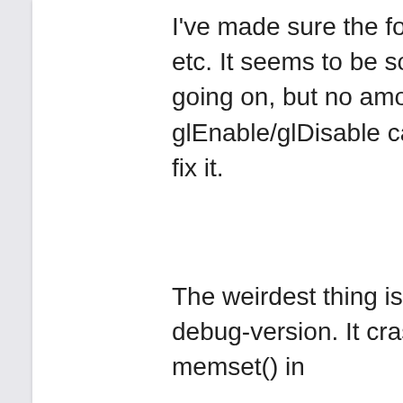I've made sure the font is loaded correctly etc. It seems to be some sort of culling is going on, but no amount of glEnable/glDisable calls has been able to fix it.
The weirdest thing is that I can't run a debug-version. It crashes during the first memset() in